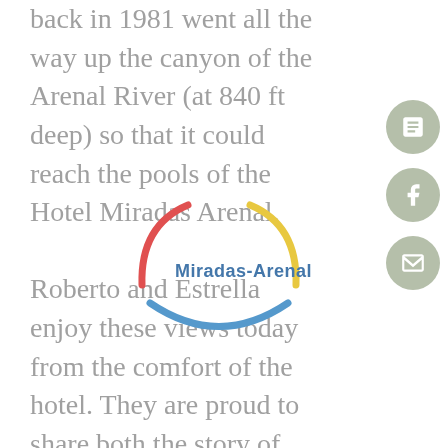back in 1981 went all the way up the canyon of the Arenal River (at 840 ft deep) so that it could reach the pools of the Hotel Miradas Arenal.

Roberto and Estrella enjoy these views today from the comfort of the hotel. They are proud to share both the story of their work and effort to get to where they are now, as well as the hot springs with all their guests. They
[Figure (logo): Miradas Arenal logo with colorful circular arc segments (red, yellow, blue) and text 'Miradas-Arenal' in blue]